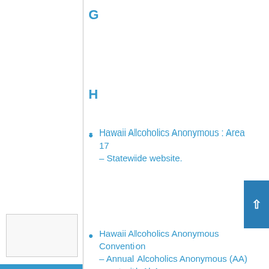G
H
Hawaii Alcoholics Anonymous : Area 17 – Statewide website.
Hawaii Alcoholics Anonymous Convention – Annual Alcoholics Anonymous (AA) event with Al-Anon